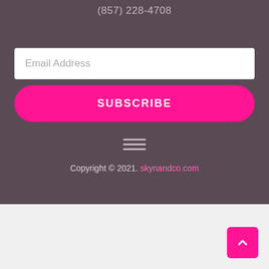(857) 228-4708
Email Address
SUBSCRIBE
[Figure (other): Hamburger menu icon with three horizontal lines]
Copyright © 2021. skynandco.com